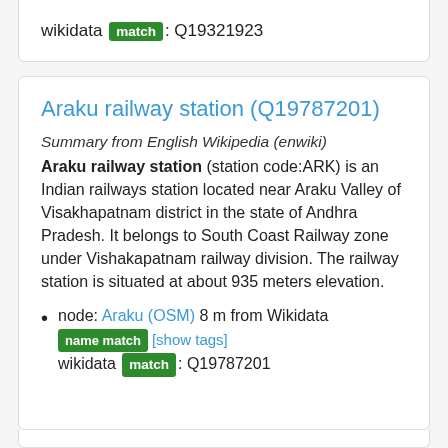wikidata match: Q19321923
Araku railway station (Q19787201)
Summary from English Wikipedia (enwiki) Araku railway station (station code:ARK) is an Indian railways station located near Araku Valley of Visakhapatnam district in the state of Andhra Pradesh. It belongs to South Coast Railway zone under Vishakapatnam railway division. The railway station is situated at about 935 meters elevation.
node: Araku (OSM) 8 m from Wikidata name match [show tags] wikidata match: Q19787201